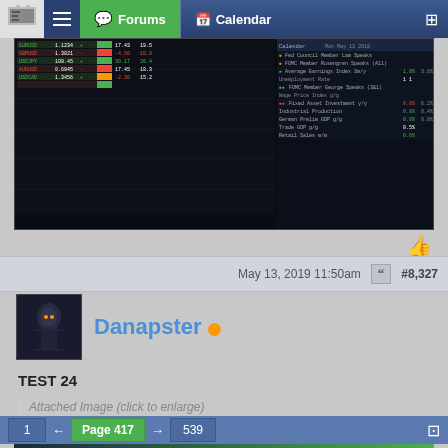Forums | Calendar
[Figure (screenshot): Trading terminal screenshot showing forex charts, economic calendar, and market data panels with dark theme]
May 13, 2019 11:50am  #8,327
Danapster
TEST 24
Attached Image (click to enlarge)
1 ← Page 417 → 539
[Figure (infographic): OANDA advertisement: SWITCH TO A BROKER WITH INTEGRITY | OANDA TRADE NOW]